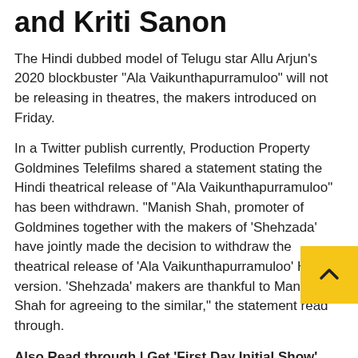and Kriti Sanon
The Hindi dubbed model of Telugu star Allu Arjun's 2020 blockbuster “Ala Vaikunthapurramuloo” will not be releasing in theatres, the makers introduced on Friday.
In a Twitter publish currently, Production Property Goldmines Telefilms shared a statement stating the Hindi theatrical release of “Ala Vaikunthapurramuloo” has been withdrawn. “Manish Shah, promoter of Goldmines together with the makers of ‘Shehzada’ have jointly made the decision to withdraw the theatrical release of ‘Ala Vaikunthapurramuloo’ Hindi version. ‘Shehzada’ makers are thankful to Manish Shah for agreeing to the similar,” the statement read through.
Also Read through | Get ‘First Day Initial Show’, our weekly e-newsletter from the planet of cinema, in your inbox . You can subscribe for totally free right here
Next the mammoth results of Arjun’s hottest release